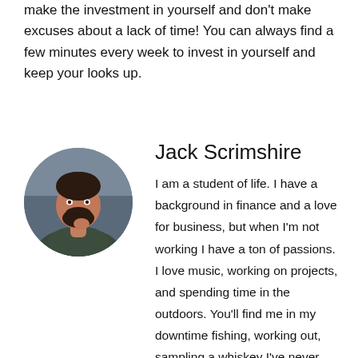make the investment in yourself and don't make excuses about a lack of time! You can always find a few minutes every week to invest in yourself and keep your looks up.
[Figure (photo): Circular portrait photo of Jack Scrimshire, a young man with dark hair and a beard, smiling.]
Jack Scrimshire
I am a student of life. I have a background in finance and a love for business, but when I'm not working I have a ton of passions. I love music, working on projects, and spending time in the outdoors. You'll find me in my downtime fishing, working out, sampling a whiskey I've never tried, or reading a book.